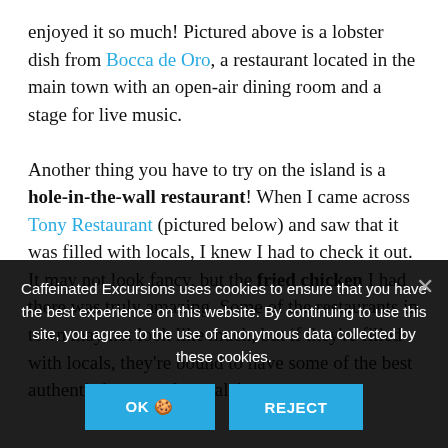enjoyed it so much! Pictured above is a lobster dish from Bocca de Oro, a restaurant located in the main town with an open-air dining room and a stage for live music.

Another thing you have to try on the island is a hole-in-the-wall restaurant! When I came across Tony Restaurant (pictured below) and saw that it was filled with locals, I knew I had to check it out. It may not look fancy, but the fried chicken I had there was truly amazing. Some of the restaurants in town may not look like much, but if they're filled with locals, they're bound to have some of the best authentic home-style meals!
Caffeinated Excursions uses cookies to ensure that you have the best experience on this website. By continuing to use this site, you agree to the use of anonymous data collected by these cookies.